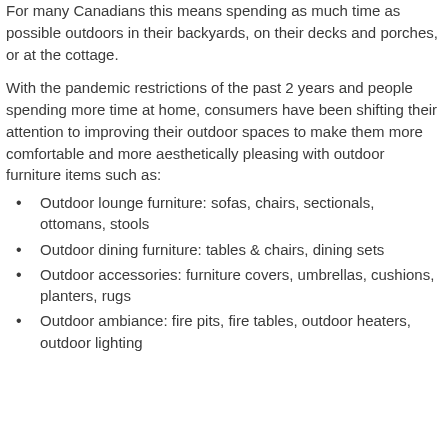For many Canadians this means spending as much time as possible outdoors in their backyards, on their decks and porches, or at the cottage.
With the pandemic restrictions of the past 2 years and people spending more time at home, consumers have been shifting their attention to improving their outdoor spaces to make them more comfortable and more aesthetically pleasing with outdoor furniture items such as:
Outdoor lounge furniture: sofas, chairs, sectionals, ottomans, stools
Outdoor dining furniture: tables & chairs, dining sets
Outdoor accessories: furniture covers, umbrellas, cushions, planters, rugs
Outdoor ambiance: fire pits, fire tables, outdoor heaters, outdoor lighting